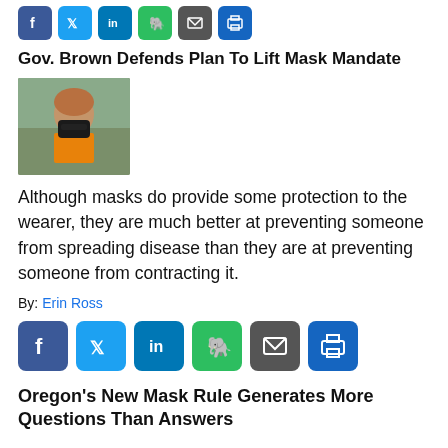[Figure (infographic): Row of social share icons: Facebook (blue), Twitter (light blue), LinkedIn (blue), Evernote (green), Email (grey), Print (blue)]
Gov. Brown Defends Plan To Lift Mask Mandate
[Figure (photo): Photo of Governor Brown wearing a black face mask and orange safety vest]
Although masks do provide some protection to the wearer, they are much better at preventing someone from spreading disease than they are at preventing someone from contracting it.
By: Erin Ross
[Figure (infographic): Row of larger social share icons: Facebook (blue), Twitter (light blue), LinkedIn (blue), Evernote (green), Email (grey), Print (blue)]
Oregon's New Mask Rule Generates More Questions Than Answers